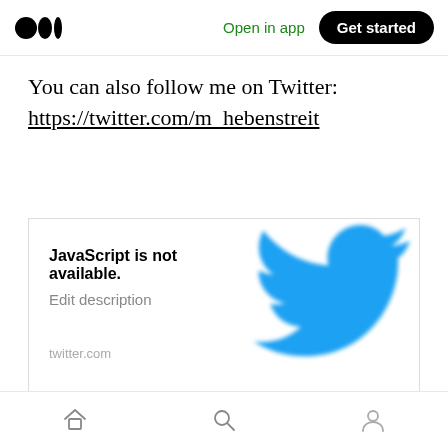Medium logo | Open in app | Get started
You can also follow me on Twitter:
https://twitter.com/m_hebenstreit
[Figure (screenshot): Twitter profile card preview showing 'JavaScript is not available.' in bold, 'Edit description' in grey, 'twitter.com' in light grey, and a blurred blue Twitter bird logo on the right side.]
Originally published on December 31, 2020.
Home | Search | Profile navigation icons